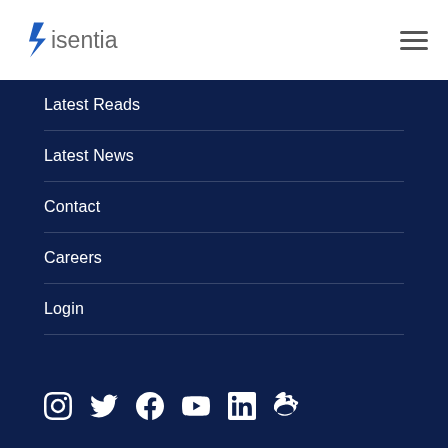[Figure (logo): Isentia logo — blue stylized 'S' icon with grey 'isentia' wordmark]
[Figure (other): Hamburger menu icon (three horizontal lines)]
Latest Reads
Latest News
Contact
Careers
Login
[Figure (other): Social media icons row: Instagram, Twitter, Facebook, YouTube, LinkedIn, Weibo]